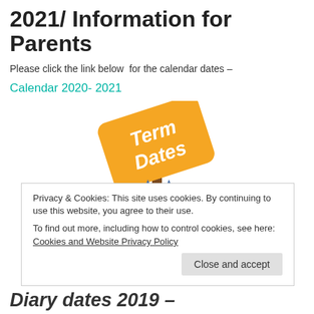2021/ Information for Parents
Please click the link below  for the calendar dates –
Calendar 2020- 2021
[Figure (illustration): A cartoon owl holding a sign that reads 'Term Dates' on an orange tilted placard with a brown pole]
Privacy & Cookies: This site uses cookies. By continuing to use this website, you agree to their use.
To find out more, including how to control cookies, see here: Cookies and Website Privacy Policy
Diary dates 2019 –